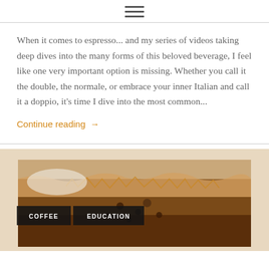≡ (hamburger menu icon)
When it comes to espresso... and my series of videos taking deep dives into the many forms of this beloved beverage, I feel like one very important option is missing. Whether you call it the double, the normale, or embrace your inner Italian and call it a doppio, it's time I dive into the most common...
Continue reading →
[Figure (photo): Photo of coffee brewing process, possibly a pour-over or espresso with crema, with COFFEE and EDUCATION category tags overlaid in black boxes]
COFFEE   EDUCATION